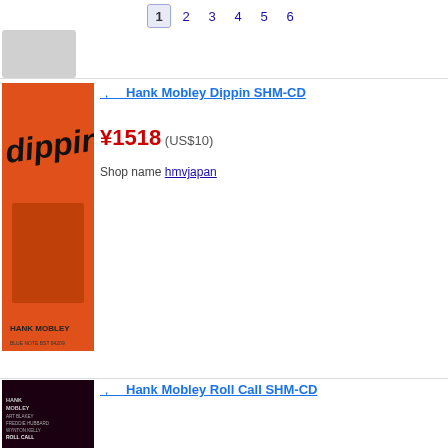1 2 3 4 5 6
[Figure (photo): Grey placeholder box top left]
[Figure (photo): Album cover: Hank Mobley Dippin - orange cover with artist name]
，　Hank Mobley Dippin SHM-CD
¥1518 (US$10)
Shop name hmvjapan
[Figure (photo): Album cover: Hank Mobley Roll Call - dark cover with musician playing trumpet]
，　Hank Mobley Roll Call SHM-CD
¥1518 (US$10)
Shop name hmvjapan
[Figure (photo): Album cover: Hank Mobley - dark cover with musician, green text]
，　ART　ENTERTAINMENT Workout The Music of Hank Mobley Derek Ansell
¥1494 (US$10)
Shop name rakutenkobo-ebooks
[Figure (photo): Album cover: Soul Station Hank Mobley with Art Blakey, Wynton Kelly, Paul Chambers - dark blue cover]
，　　Hank Mobley Soul Station (Uhqcd Mqa) Hi Quality CD